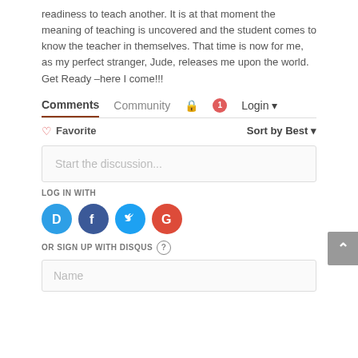readiness to teach another. It is at that moment the meaning of teaching is uncovered and the student comes to know the teacher in themselves. That time is now for me, as my perfect stranger, Jude, releases me upon the world. Get Ready –here I come!!!
Comments  Community  🔒  1  Login
♡ Favorite    Sort by Best ▾
Start the discussion...
LOG IN WITH
[Figure (other): Social login icons: Disqus (blue circle D), Facebook (dark blue circle f), Twitter (light blue circle bird), Google (red circle G)]
OR SIGN UP WITH DISQUS ?
Name